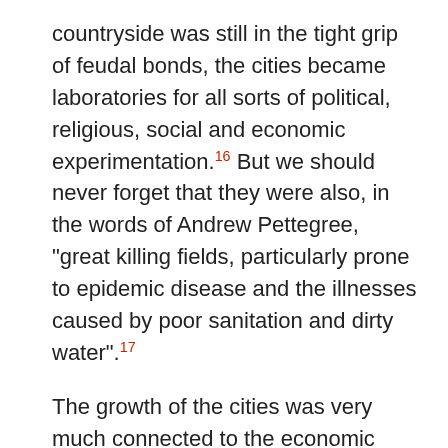countryside was still in the tight grip of feudal bonds, the cities became laboratories for all sorts of political, religious, social and economic experimentation.[16] But we should never forget that they were also, in the words of Andrew Pettegree, "great killing fields, particularly prone to epidemic disease and the illnesses caused by poor sanitation and dirty water".[17]
The growth of the cities was very much connected to the economic changes of this period. At the end of the 15th and start of the 16th century, there arose what Immanuel Wallerstein has described as a "European world_economy": a closely integrated system of states and city-states, tied together by the market.[18] The "marketisation" of European society was not a new phenomenon, but the 16th century formed an important